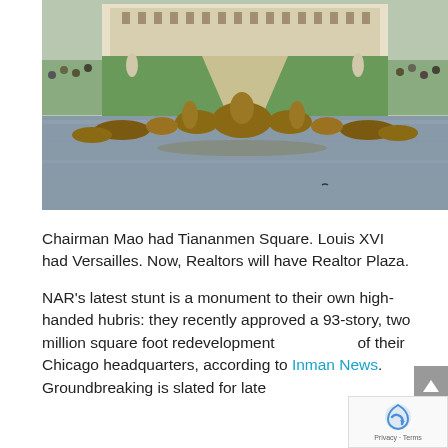[Figure (photo): Photograph of the Versailles palace fountain with bronze horse and figure sculptures in a reflecting pool, manicured gardens and palace building in background, visitors visible along the edges]
Chairman Mao had Tiananmen Square. Louis XVI had Versailles. Now, Realtors will have Realtor Plaza.
NAR's latest stunt is a monument to their own high-handed hubris: they recently approved a 93-story, two million square foot redevelopment of their Chicago headquarters, according to Inman News. Groundbreaking is slated for late